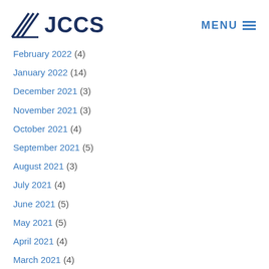JCCS — MENU
February 2022 (4)
January 2022 (14)
December 2021 (3)
November 2021 (3)
October 2021 (4)
September 2021 (5)
August 2021 (3)
July 2021 (4)
June 2021 (5)
May 2021 (5)
April 2021 (4)
March 2021 (4)
February 2021 (5)
January 2021 (6)
December 2020 (9)
November 2020 (8)
October 2020 (7)